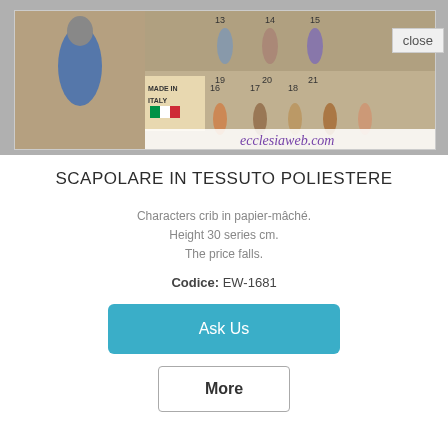[Figure (photo): Product image area showing nativity figurines/crib characters with 'Made in Italy' label, and ecclesiaweb.com text below, with a 'close' button in top right corner]
SCAPOLARE IN TESSUTO POLIESTERE
Characters crib in papier-mâché.
Height 30 series cm.
The price falls.
Codice: EW-1681
Ask Us
More